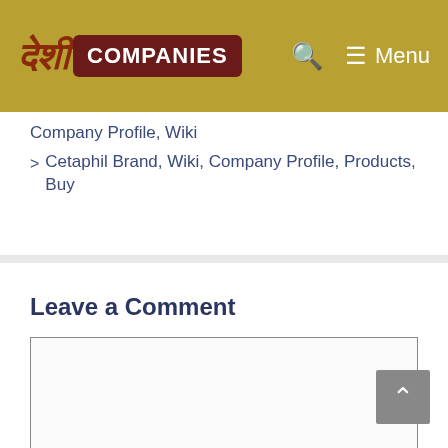देशी COMPANIES  🔍  ≡ Menu
Company Profile, Wiki
› Cetaphil Brand, Wiki, Company Profile, Products, Buy
Leave a Comment